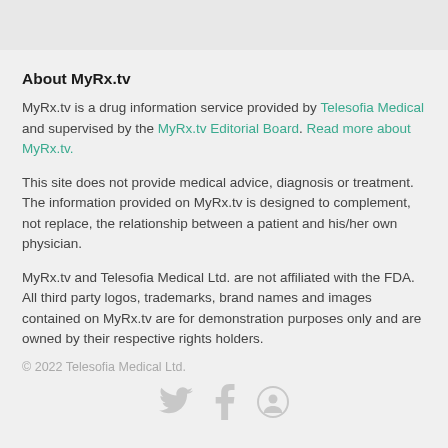About MyRx.tv
MyRx.tv is a drug information service provided by Telesofia Medical and supervised by the MyRx.tv Editorial Board. Read more about MyRx.tv.
This site does not provide medical advice, diagnosis or treatment.
The information provided on MyRx.tv is designed to complement, not replace, the relationship between a patient and his/her own physician.
MyRx.tv and Telesofia Medical Ltd. are not affiliated with the FDA. All third party logos, trademarks, brand names and images contained on MyRx.tv are for demonstration purposes only and are owned by their respective rights holders.
© 2022 Telesofia Medical Ltd.